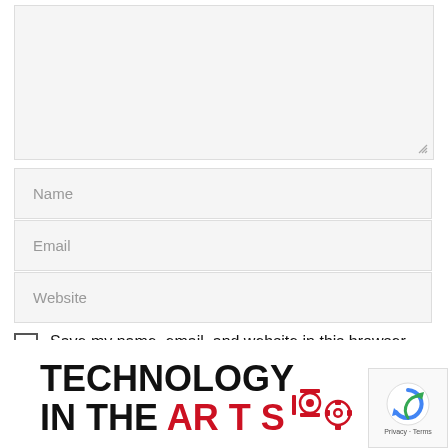[Figure (screenshot): Textarea input field (empty, greyed background) with a resize handle in the bottom-right corner]
Name
Email
Website
Save my name, email, and website in this browser for the next time I comment.
Post Comment
[Figure (logo): Technology in the Arts logo — bold black text 'TECHNOLOGY' and 'IN THE' with red 'ARTS' letters and gear/robot icons in red]